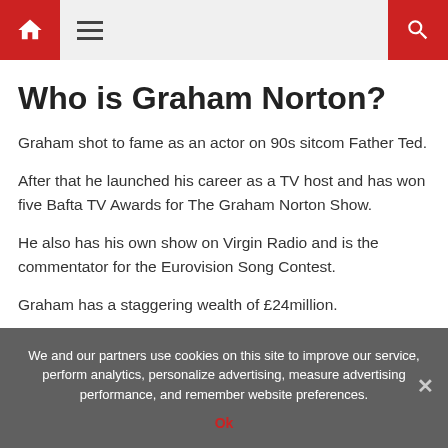Navigation bar with home icon, menu icon, and search icon
Who is Graham Norton?
Graham shot to fame as an actor on 90s sitcom Father Ted.
After that he launched his career as a TV host and has won five Bafta TV Awards for The Graham Norton Show.
He also has his own show on Virgin Radio and is the commentator for the Eurovision Song Contest.
Graham has a staggering wealth of £24million.
We and our partners use cookies on this site to improve our service, perform analytics, personalize advertising, measure advertising performance, and remember website preferences. Ok